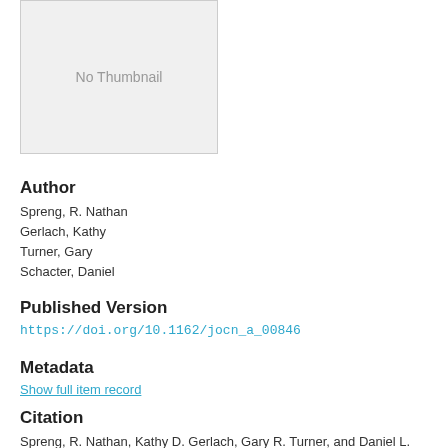[Figure (other): No Thumbnail placeholder box with light gray background]
(1.159Mb)
Author
Spreng, R. Nathan
Gerlach, Kathy
Turner, Gary
Schacter, Daniel
Published Version
https://doi.org/10.1162/jocn_a_00846
Metadata
Show full item record
Citation
Spreng, R. Nathan, Kathy D. Gerlach, Gary R. Turner, and Daniel L. Schacter. 2015. “Autobiographical Planning and the Brain: Activation